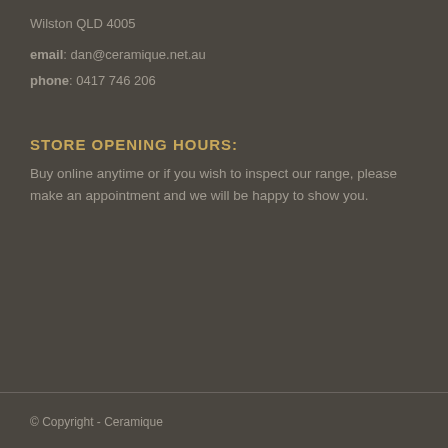Wilston QLD 4005
email: dan@ceramique.net.au
phone: 0417 746 206
STORE OPENING HOURS:
Buy online anytime or if you wish to inspect our range, please make an appointment and we will be happy to show you.
© Copyright - Ceramique